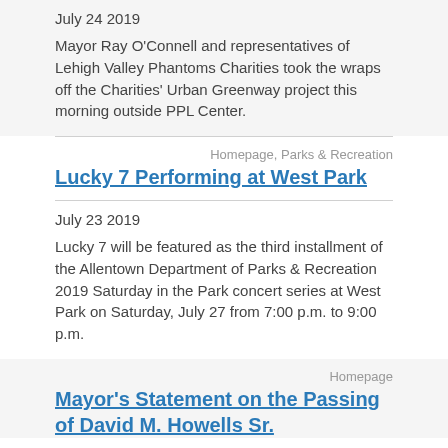July 24 2019
Mayor Ray O'Connell and representatives of Lehigh Valley Phantoms Charities took the wraps off the Charities' Urban Greenway project this morning outside PPL Center.
Homepage, Parks & Recreation
Lucky 7 Performing at West Park
July 23 2019
Lucky 7 will be featured as the third installment of the Allentown Department of Parks & Recreation 2019 Saturday in the Park concert series at West Park on Saturday, July 27 from 7:00 p.m. to 9:00 p.m.
Homepage
Mayor's Statement on the Passing of David M. Howells Sr.
July 20 2019
Mayor Ray O'Connell issued the following statement on the July 20, 2019 passing of David M. Howells Sr.